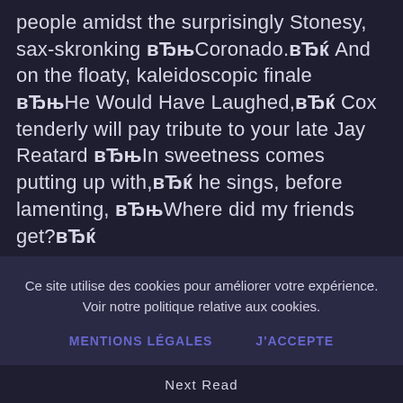people amidst the surprisingly Stonesy, sax-skronking вЂњCoronado.вЂќ And on the floaty, kaleidoscopic finale вЂњHe Would Have Laughed,вЂќ Cox tenderly will pay tribute to your late Jay Reatard вЂњIn sweetness comes putting up with,вЂќ he sings, before lamenting, вЂњWhere did my friends get?вЂќ
Ce site utilise des cookies pour améliorer votre expérience. Voir notre politique relative aux cookies.
MENTIONS LÉGALES
J'accepte
Next Read